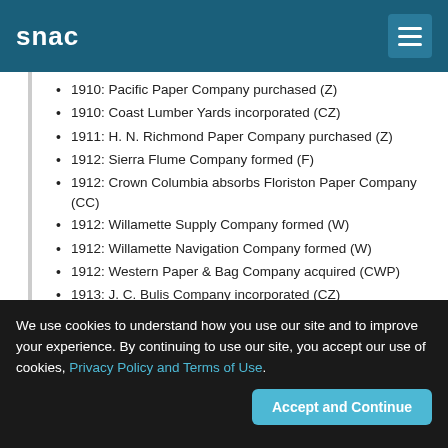snac
1910: Pacific Paper Company purchased (Z)
1910: Coast Lumber Yards incorporated (CZ)
1911: H. N. Richmond Paper Company purchased (Z)
1912: Sierra Flume Company formed (F)
1912: Crown Columbia absorbs Floriston Paper Company (CC)
1912: Willamette Supply Company formed (W)
1912: Willamette Navigation Company formed (W)
1912: Western Paper & Bag Company acquired (CWP)
1913: J. C. Bulis Company incorporated (CZ)
1914: Willamette Pulp & Paper Company merges with Crown Columbia Paper Company & Lebanon Paper Company to form Crown Willamette Paper Company (CWP)
We use cookies to understand how you use our site and to improve your experience. By continuing to use our site, you accept our use of cookies, Privacy Policy and Terms of Use.